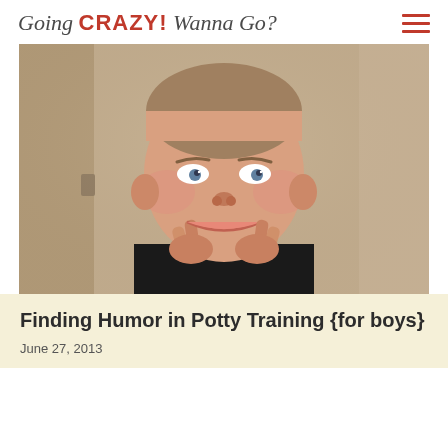Going CRAZY! Wanna Go?
[Figure (photo): Young boy with short brown hair making a funny face by pulling the corners of his mouth open with his fingers, wearing a dark shirt, with a beige wall in the background.]
Finding Humor in Potty Training {for boys}
June 27, 2013